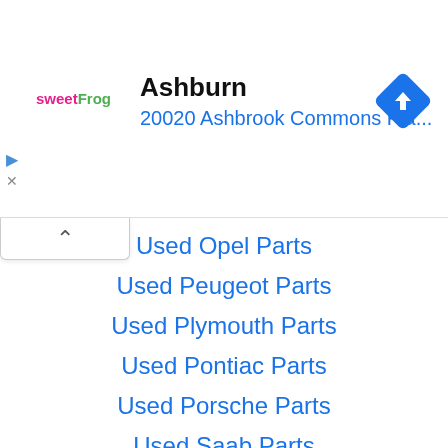[Figure (screenshot): Advertisement banner showing sweetFrog logo, location name 'Ashburn', address '20020 Ashbrook Commons Pla...', and a blue navigation/directions diamond icon]
Used Opel Parts
Used Peugeot Parts
Used Plymouth Parts
Used Pontiac Parts
Used Porsche Parts
Used Saab Parts
Used Saturn Parts
Used Scion Parts
Used Subaru Parts
Used Suzuki Parts